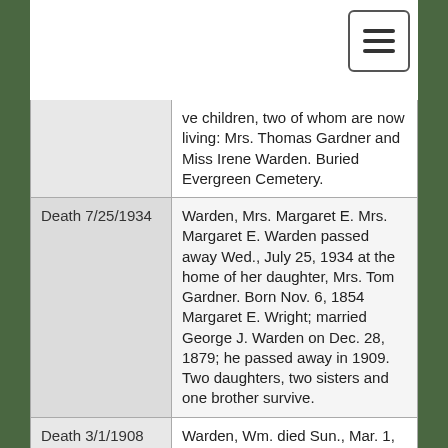| Date/Type | Record |
| --- | --- |
|  | ve children, two of whom are now living: Mrs. Thomas Gardner and Miss Irene Warden. Buried Evergreen Cemetery. |
| Death 7/25/1934 | Warden, Mrs. Margaret E. Mrs. Margaret E. Warden passed away Wed., July 25, 1934 at the home of her daughter, Mrs. Tom Gardner. Born Nov. 6, 1854 Margaret E. Wright; married George J. Warden on Dec. 28, 1879; he passed away in 1909. Two daughters, two sisters and one brother survive. |
| Death 3/1/1908 | Warden, Wm. died Sun., Mar. 1, 1908 Born Apr. 22, 1839, son of Jonathan and Mary (Lovell) Warden. Jonathan was a wagon maker by trade. Died in 186 |